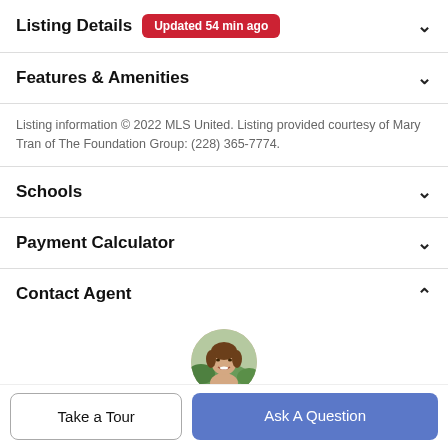Listing Details Updated 54 min ago
Features & Amenities
Listing information © 2022 MLS United. Listing provided courtesy of Mary Tran of The Foundation Group: (228) 365-7774.
Schools
Payment Calculator
Contact Agent
[Figure (photo): Circular profile photo of a woman with brown hair smiling, outdoors background]
Take a Tour
Ask A Question